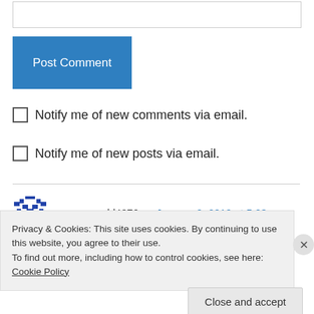[input box]
Post Comment
Notify me of new comments via email.
Notify me of new posts via email.
anngronvold4276 on January 9, 2019 at 5:23 pm
Dear John & Molly,
Privacy & Cookies: This site uses cookies. By continuing to use this website, you agree to their use. To find out more, including how to control cookies, see here: Cookie Policy
Close and accept